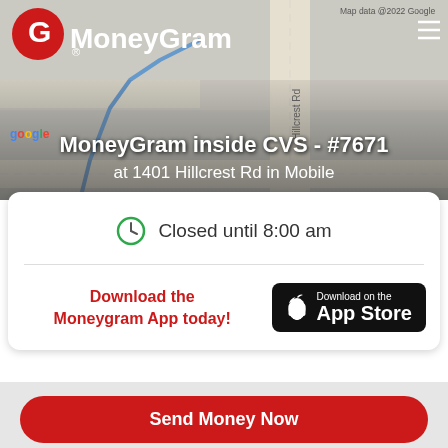[Figure (map): Google map background showing street layout near 1401 Hillcrest Rd in Mobile]
MoneyGram inside CVS - #7671
at 1401 Hillcrest Rd in Mobile
Closed until 8:00 am
Download the Moneygram App today!
[Figure (logo): Download on the App Store badge]
Send Money Now
Receive Money